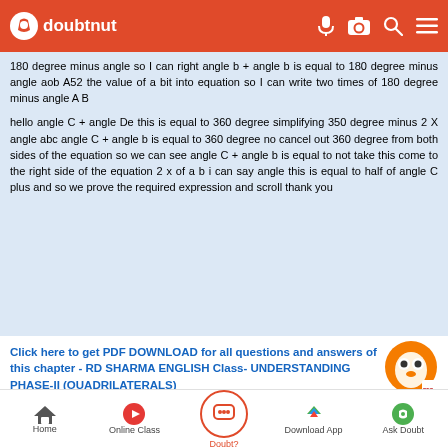doubtnut
180 degree minus angle so I can right angle b + angle b is equal to 180 degree minus angle aob A52 the value of a bit into equation so I can write two times of 180 degree minus angle A B
hello angle C + angle De this is equal to 360 degree simplifying 350 degree minus 2 X angle abc angle C + angle b is equal to 360 degree no cancel out 360 degree from both sides of the equation so we can see angle C + angle b is equal to not take this come to the right side of the equation 2 x of a b i can say angle this is equal to half of angle C plus and so we prove the required expression and scroll thank you
Click here to get PDF DOWNLOAD for all questions and answers of this chapter - RD SHARMA ENGLISH Class- UNDERSTANDING PHASE-II (QUADRILATERALS)
[Figure (illustration): Mathematics Class VIII RD Sharma book cover thumbnail]
Home | Online Class | Doubt? | Download App | Ask Doubt